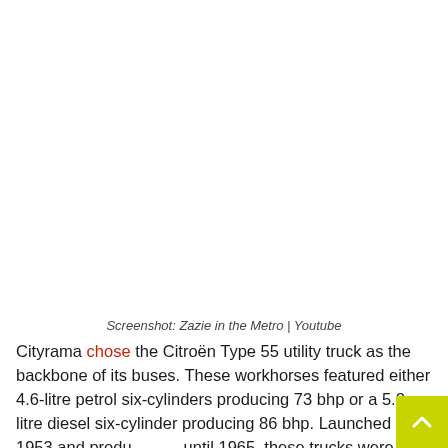Screenshot: Zazie in the Metro | Youtube
Cityrama chose the Citroën Type 55 utility truck as the backbone of its buses. These workhorses featured either 4.6-litre petrol six-cylinders producing 73 bhp or a 5.2-litre diesel six-cylinder producing 86 bhp. Launched in 1953 and produced until 1965, these trucks were the backbone of fire engines